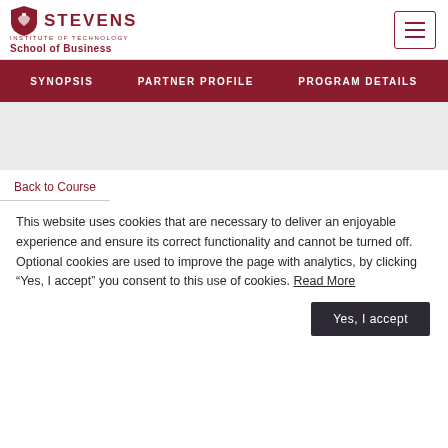Stevens Institute of Technology School of Business
SYNOPSIS   PARTNER PROFILE   PROGRAM DETAILS
Back to Course
This website uses cookies that are necessary to deliver an enjoyable experience and ensure its correct functionality and cannot be turned off. Optional cookies are used to improve the page with analytics, by clicking "Yes, I accept" you consent to this use of cookies. Read More
Yes, I accept